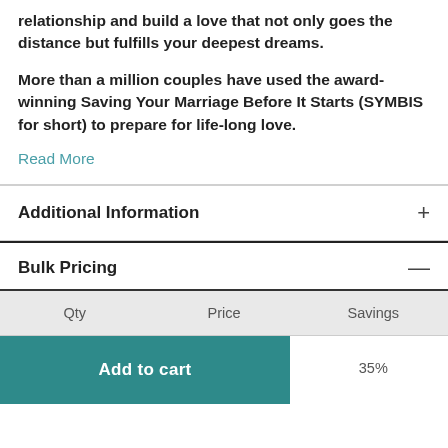relationship and build a love that not only goes the distance but fulfills your deepest dreams.
More than a million couples have used the award-winning Saving Your Marriage Before It Starts (SYMBIS for short) to prepare for life-long love.
Read More
Additional Information
Bulk Pricing
| Qty | Price | Savings |
| --- | --- | --- |
|  |  | 35% |